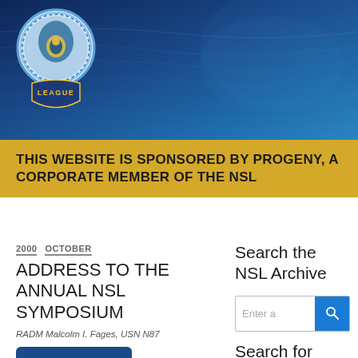[Figure (logo): Naval Submarine League circular logo with shield shape and 'LEAGUE' label below on a dark blue water background banner]
THIS WEBSITE IS SPONSORED BY PROGENY, A CORPORATE MEMBER OF THE NSL
2000  OCTOBER
ADDRESS TO THE ANNUAL NSL SYMPOSIUM
RADM Malcolm I. Fages, USN N87
View Full Issue
Search the NSL Archive
Enter a
Search for